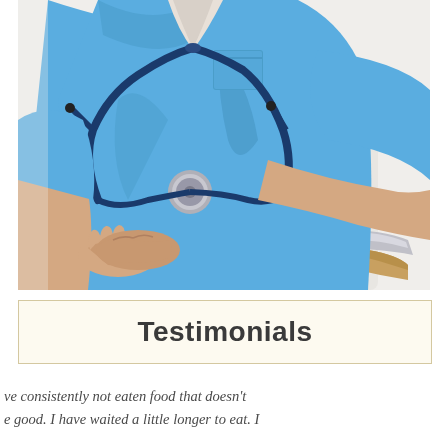[Figure (photo): A nurse or medical professional wearing blue scrubs and a stethoscope, seated with hands clasped, photographed from the neck down. The background is white/light gray. A wooden chair arm is partially visible.]
Testimonials
ve consistently not eaten food that doesn't e good. I have waited a little longer to eat. I